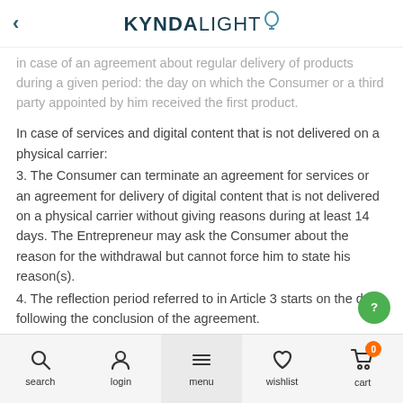KYNDALIGHT
in case of an agreement about regular delivery of products during a given period: the day on which the Consumer or a third party appointed by him received the first product.
In case of services and digital content that is not delivered on a physical carrier:
3. The Consumer can terminate an agreement for services or an agreement for delivery of digital content that is not delivered on a physical carrier without giving reasons during at least 14 days. The Entrepreneur may ask the Consumer about the reason for the withdrawal but cannot force him to state his reason(s).
4. The reflection period referred to in Article 3 starts on the day following the conclusion of the agreement.
search  login  menu  wishlist  cart